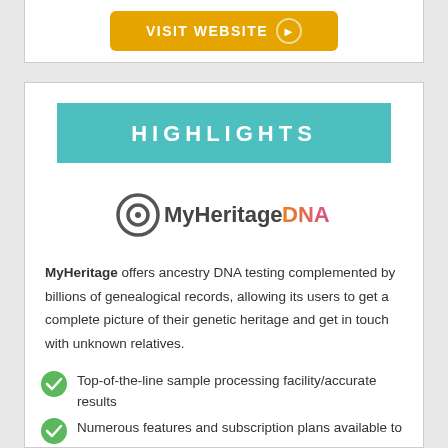[Figure (other): Visit Website button (orange/gold) with arrow circle, partially visible at top of page]
HIGHLIGHTS
[Figure (logo): MyHeritage DNA logo — circular icon with MyHeritage in dark gray and DNA in orange-to-pink gradient]
MyHeritage offers ancestry DNA testing complemented by billions of genealogical records, allowing its users to get a complete picture of their genetic heritage and get in touch with unknown relatives.
Top-of-the-line sample processing facility/accurate results
Numerous features and subscription plans available to